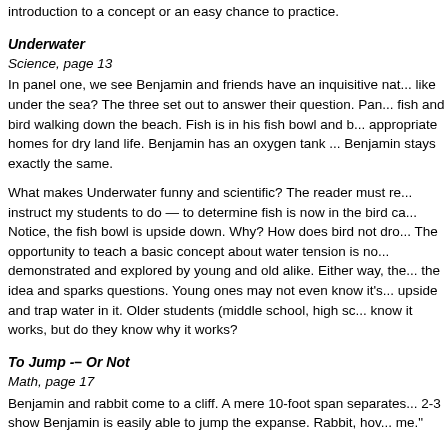introduction to a concept or an easy chance to practice.
Underwater
Science, page 13
In panel one, we see Benjamin and friends have an inquisitive nat... like under the sea? The three set out to answer their question. Pan... fish and bird walking down the beach. Fish is in his fish bowl and b... appropriate homes for dry land life. Benjamin has an oxygen tank ... Benjamin stays exactly the same.
What makes Underwater funny and scientific? The reader must re... instruct my students to do — to determine fish is now in the bird ca... Notice, the fish bowl is upside down. Why? How does bird not dro... The opportunity to teach a basic concept about water tension is no... demonstrated and explored by young and old alike. Either way, the... the idea and sparks questions. Young ones may not even know it's... upside and trap water in it. Older students (middle school, high sc... know it works, but do they know why it works?
To Jump -– Or Not
Math, page 17
Benjamin and rabbit come to a cliff. A mere 10-foot span separates... 2-3 show Benjamin is easily able to jump the expanse. Rabbit, hov... me."
I would cover panel 4 from the students and ask them to explore s...